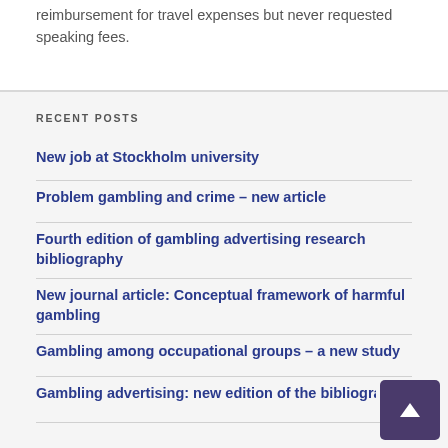reimbursement for travel expenses but never requested speaking fees.
RECENT POSTS
New job at Stockholm university
Problem gambling and crime – new article
Fourth edition of gambling advertising research bibliography
New journal article: Conceptual framework of harmful gambling
Gambling among occupational groups – a new study
Gambling advertising: new edition of the bibliogra…